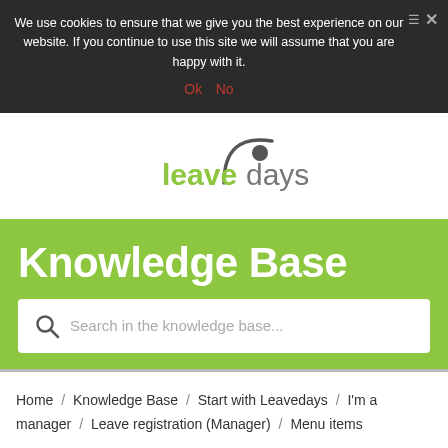We use cookies to ensure that we give you the best experience on our website. If you continue to use this site we will assume that you are happy with it.
Ok   No
[Figure (logo): Leavedays logo: green 'leave' text followed by gray 'days' text with a circular arc graphic element above]
Knowledge Base
Search in the knowledge base...
Home / Knowledge Base / Start with Leavedays / I'm a manager / Leave registration (Manager) / Menu items